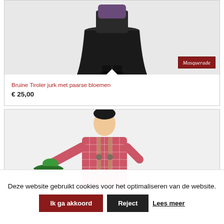[Figure (photo): Product image of Bruine Tiroler jurk met paarse bloemen (brown Tyrolean dress with purple flowers), partial view showing lower half of dress on mannequin with Masquerade logo badge]
Bruine Tiroler jurk met paarse bloemen
€ 25,00
[Figure (photo): Product image of a man wearing a pink checkered shirt with suspenders (lederhosen), holding a green hat, partially cut off]
Deze website gebruikt cookies voor het optimaliseren van de website.
Ik ga akkoord
Reject
Lees meer